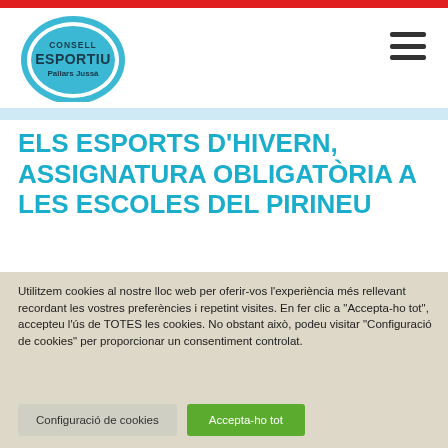[Figure (logo): Consell Esportiu Pallars Jussà logo — oval teal badge with text]
ELS ESPORTS D'HIVERN, ASSIGNATURA OBLIGATÒRIA A LES ESCOLES DEL PIRINEU
Utilitzem cookies al nostre lloc web per oferir-vos l'experiència més rellevant recordant les vostres preferències i repetint visites. En fer clic a "Accepta-ho tot", accepteu l'ús de TOTES les cookies. No obstant això, podeu visitar "Configuració de cookies" per proporcionar un consentiment controlat.